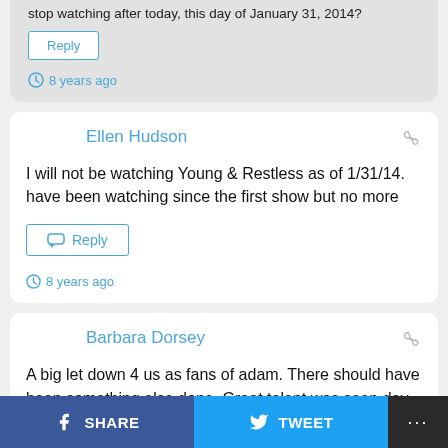stop watching after today, this day of January 31, 2014?
Reply
8 years ago
Ellen Hudson
I will not be watching Young & Restless as of 1/31/14. have been watching since the first show but no more
Reply
8 years ago
Barbara Dorsey
A big let down 4 us as fans of adam. There should have been something else done. Great talent was seen day one. This is
SHARE
TWEET